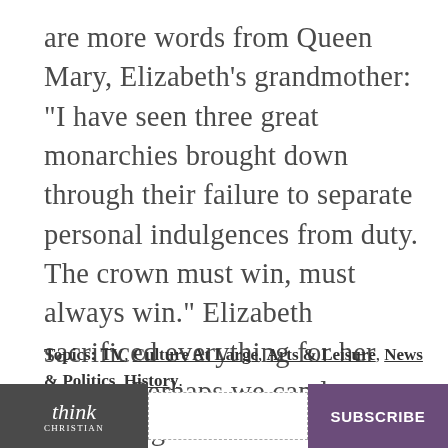are more words from Queen Mary, Elizabeth's grandmother: "I have seen three great monarchies brought down through their failure to separate personal indulgences from duty. The crown must win, must always win." Elizabeth sacrificed everything for her crown. Perhaps we can learn something from this monarch and her self-denial.
Topics: TV, Culture At Large, Arts & Leisure, News & Politics, History
think CHRISTIAN | [input field] | SUBSCRIBE